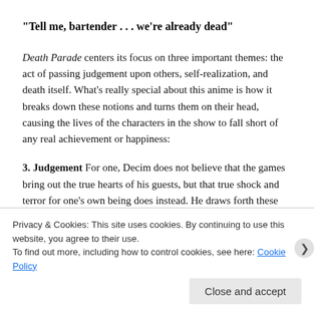“Tell me, bartender . . . we’re already dead”
Death Parade centers its focus on three important themes: the act of passing judgement upon others, self-realization, and death itself. What’s really special about this anime is how it breaks down these notions and turns them on their head, causing the lives of the characters in the show to fall short of any real achievement or happiness:
3. Judgement For one, Decim does not believe that the games bring out the true hearts of his guests, but that true shock and terror for one’s own being does instead. He draws forth these intense emotions by the games: slowly, he might re-implant the memories of their deaths back into their minds; or
Privacy & Cookies: This site uses cookies. By continuing to use this website, you agree to their use.
To find out more, including how to control cookies, see here: Cookie Policy
Close and accept